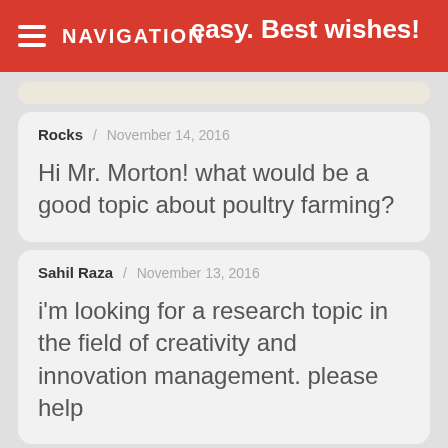NAVIGATION
easy. Best wishes!
Rocks / November 14, 2016
Hi Mr. Morton! what would be a good topic about poultry farming?
Sahil Raza / November 13, 2016
i'm looking for a research topic in the field of creativity and innovation management. please help